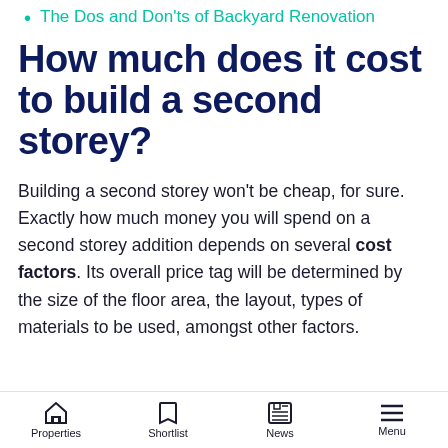The Dos and Don'ts of Backyard Renovation
How much does it cost to build a second storey?
Building a second storey won't be cheap, for sure. Exactly how much money you will spend on a second storey addition depends on several cost factors. Its overall price tag will be determined by the size of the floor area, the layout, types of materials to be used, amongst other factors.
Properties  Shortlist  News  Menu